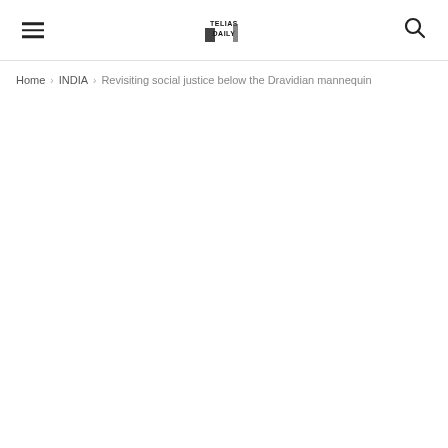TELIAS DAILY [logo] | Hamburger menu | Search icon
Home › INDIA › Revisiting social justice below the Dravidian mannequin